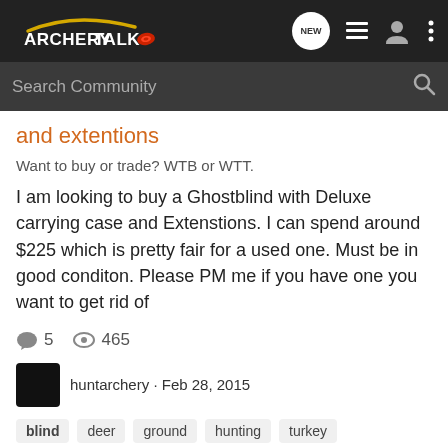[Figure (logo): ArcheryTalk logo with navigation icons (NEW bubble, list icon, user icon, more icon) on dark background]
Search Community
and extentions
Want to buy or trade? WTB or WTT.
I am looking to buy a Ghostblind with Deluxe carrying case and Extenstions. I can spend around $225 which is pretty fair for a used one. Must be in good conditon. Please PM me if you have one you want to get rid of
5  465
huntarchery · Feb 28, 2015
blind
deer
ground
hunting
turkey
Archery Hunting Turkey/Vest
Bowhunting and Bowhunter Showcases
I have been trying to hunt turkeys with a bow for a couple